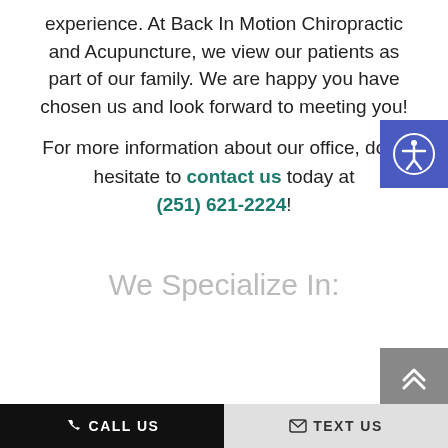experience. At Back In Motion Chiropractic and Acupuncture, we view our patients as part of our family. We are happy you have chosen us and look forward to meeting you!
For more information about our office, don't hesitate to contact us today at (251) 621-2224!
We Specialize In:
CALL US   TEXT US